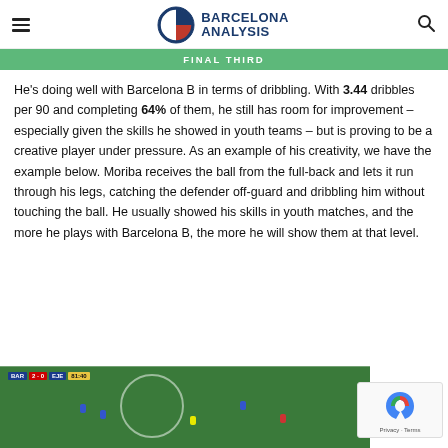Barcelona Analysis
FINAL THIRD
He's doing well with Barcelona B in terms of dribbling. With 3.44 dribbles per 90 and completing 64% of them, he still has room for improvement – especially given the skills he showed in youth teams – but is proving to be a creative player under pressure. As an example of his creativity, we have the example below. Moriba receives the ball from the full-back and lets it run through his legs, catching the defender off-guard and dribbling him without touching the ball. He usually showed his skills in youth matches, and the more he plays with Barcelona B, the more he will show them at that level.
[Figure (screenshot): Video screenshot of a Barcelona B vs EJE football match at 81:40, score 2-0, showing players on a green pitch with a center circle visible.]